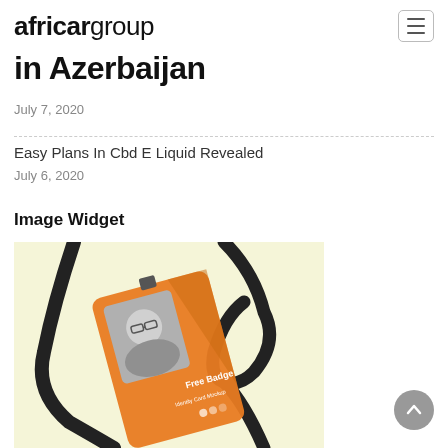africargroup
in Azerbaijan
July 7, 2020
Easy Plans In Cbd E Liquid Revealed
July 6, 2020
Image Widget
[Figure (photo): An orange identity card / badge with a photo of a man wearing glasses, attached to a black lanyard. Text on the card reads 'Free Badge Identity Card Mockup'. Background is light yellow/cream.]